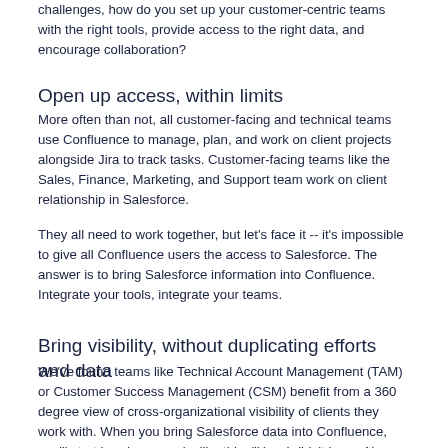challenges, how do you set up your customer-centric teams with the right tools, provide access to the right data, and encourage collaboration?
Open up access, within limits
More often than not, all customer-facing and technical teams use Confluence to manage, plan, and work on client projects alongside Jira to track tasks. Customer-facing teams like the Sales, Finance, Marketing, and Support team work on client relationship in Salesforce.
They all need to work together, but let's face it -- it's impossible to give all Confluence users the access to Salesforce. The answer is to bring Salesforce information into Confluence. Integrate your tools, integrate your teams.
Bring visibility, without duplicating efforts and data
We've found teams like Technical Account Management (TAM) or Customer Success Management (CSM) benefit from a 360 degree view of cross-organizational visibility of clients they work with. When you bring Salesforce data into Confluence, you'll start hearing remarks like this: “Hey, I didn’t know Alex from Sales is working with Acme & Co. He might be a great help for me to